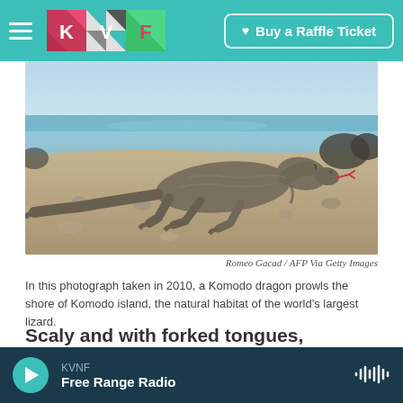KMF — Buy a Raffle Ticket
[Figure (photo): Komodo dragon walking on a rocky/sandy beach shore with ocean in background. Photo by Romeo Gacad / AFP Via Getty Images.]
Romeo Gacad / AFP Via Getty Images
In this photograph taken in 2010, a Komodo dragon prowls the shore of Komodo island, the natural habitat of the world's largest lizard.
Scaly and with forked tongues, Komodo dragons are the largest lizards to still walk the Earth.
KVNF — Free Range Radio